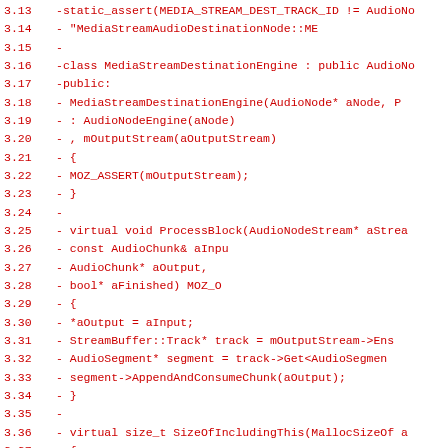[Figure (screenshot): Code diff showing deletion of C++ class MediaStreamDestinationEngine lines 3.13 through 3.45, with line numbers on left and red diff-removed code on right, displayed in a monospace code viewer.]